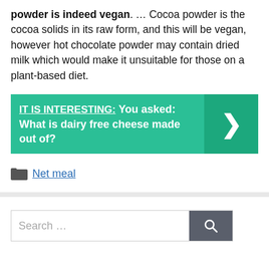powder is indeed vegan. … Cocoa powder is the cocoa solids in its raw form, and this will be vegan, however hot chocolate powder may contain dried milk which would make it unsuitable for those on a plant-based diet.
[Figure (infographic): Teal banner with 'IT IS INTERESTING: You asked: What is dairy free cheese made out of?' and a right-arrow chevron on a darker teal background on the right side.]
Net meal
[Figure (screenshot): Search input bar with placeholder text 'Search ...' and a dark grey search button with a magnifying glass icon.]